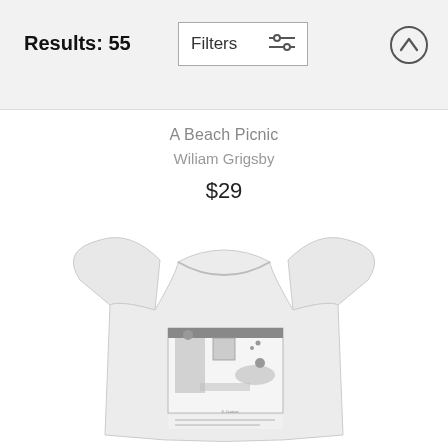Results: 55
Filters
A Beach Picnic
Wiliam Grigsby
$29
[Figure (photo): A white t-shirt with a New Yorker-style cartoon printed on the front showing an indoor scene with figures and a speech bubble caption.]